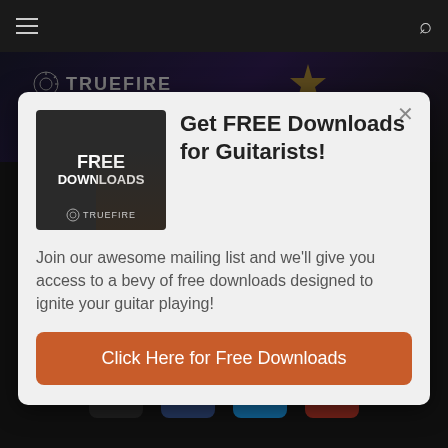[Figure (screenshot): TrueFire website banner with dark purple background and logo]
Get FREE Downloads for Guitarists!
[Figure (illustration): Free Downloads promotional image with TrueFire branding on dark background]
Join our awesome mailing list and we'll give you access to a bevy of free downloads designed to ignite your guitar playing!
Click Here for Free Downloads
CONNECT